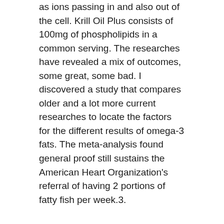as ions passing in and also out of the cell. Krill Oil Plus consists of 100mg of phospholipids in a common serving. The researches have revealed a mix of outcomes, some great, some bad. I discovered a study that compares older and a lot more current researches to locate the factors for the different results of omega-3 fats. The meta-analysis found general proof still sustains the American Heart Organization's referral of having 2 portions of fatty fish per week.3.
Skin.
Some individuals are blessed with a normally stunning radiance. For the remainder of us, we turn to skin treatment, products and